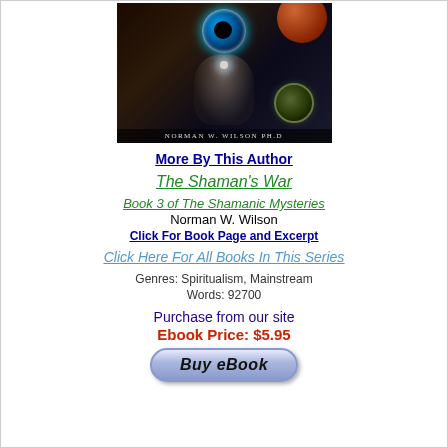[Figure (illustration): Book cover for a paranormal/mysticism book by Norman W. Wilson Ph.D, featuring a dark space-like background with a blue eye, a reddish planet, a green lens/orb, a glowing light, and a ghostly figure. Author name displayed at bottom.]
More By This Author
The Shaman's War
Book 3 of The Shamanic Mysteries
Norman W. Wilson
Click For Book Page and Excerpt
Click Here For All Books In This Series
Genres: Spiritualism, Mainstream
Words: 92700
Purchase from our site
Ebook Price: $5.95
Buy eBook